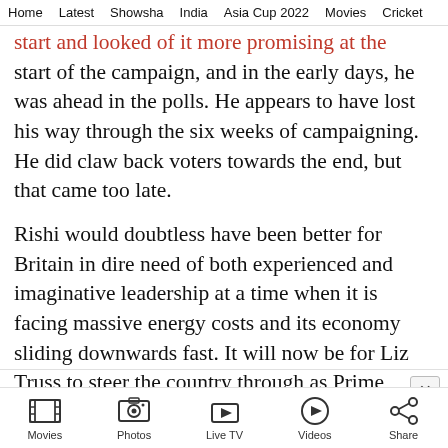Home | Latest | Showsha | India | Asia Cup 2022 | Movies | Cricket
…start of the campaign, and in the early days, he was ahead in the polls. He appears to have lost his way through the six weeks of campaigning. He did claw back voters towards the end, but that came too late.
Rishi would doubtless have been better for Britain in dire need of both experienced and imaginative leadership at a time when it is facing massive energy costs and its economy sliding downwards fast. It will now be for Liz Truss to steer the country through as Prime
Movies | Photos | Live TV | Videos | Share